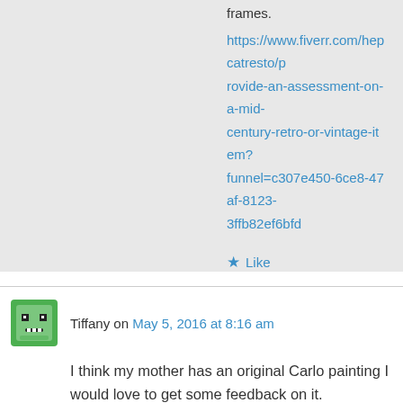frames.
https://www.fiverr.com/hepcatresto/provide-an-assessment-on-a-mid-century-retro-or-vintage-item?funnel=c307e450-6ce8-47af-8123-3ffb82ef6bfd
★ Like
Tiffany on May 5, 2016 at 8:16 am
I think my mother has an original Carlo painting I would love to get some feedback on it.
★ Like
↳ Reply